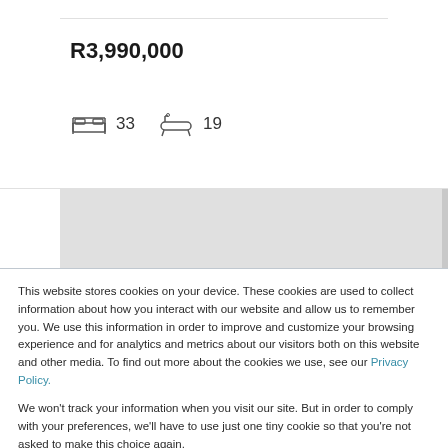R3,990,000
[Figure (illustration): Bed icon with number 33 and bath icon with number 19]
This website stores cookies on your device. These cookies are used to collect information about how you interact with our website and allow us to remember you. We use this information in order to improve and customize your browsing experience and for analytics and metrics about our visitors both on this website and other media. To find out more about the cookies we use, see our Privacy Policy.
We won't track your information when you visit our site. But in order to comply with your preferences, we'll have to use just one tiny cookie so that you're not asked to make this choice again.
Accept
Decline